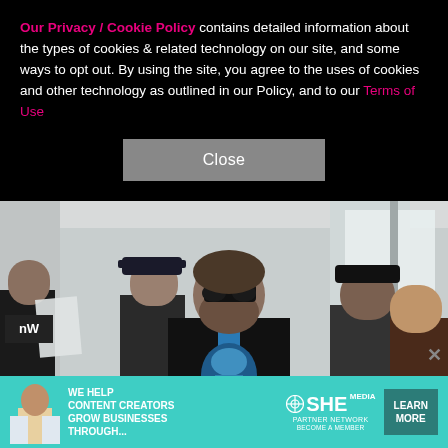Our Privacy / Cookie Policy contains detailed information about the types of cookies & related technology on our site, and some ways to opt out. By using the site, you agree to the uses of cookies and other technology as outlined in our Policy, and to our Terms of Use
[Figure (other): Close button (gray rectangle with white text 'Close')]
[Figure (photo): A man wearing sunglasses, a blue graphic t-shirt and black leather jacket walks through what appears to be an airport, surrounded by a crowd of people. A yellow 'AUTOMATIC CAUTION DOOR' sign is visible on the right.]
[Figure (infographic): Advertisement banner: 'WE HELP CONTENT CREATORS GROW BUSINESSES THROUGH...' with SHE Media Partner Network logo and 'LEARN MORE' button on teal background.]